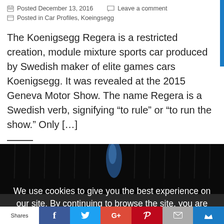Posted December 13, 2016   Leave a comment
Posted in Car Profiles, Koeingsegg
The Koenigsegg Regera is a restricted creation, module mixture sports car produced by Swedish maker of elite games cars Koenigsegg. It was revealed at the 2015 Geneva Motor Show. The name Regera is a Swedish verb, signifying “to rule” or “to run the show.” Only […]
[Figure (photo): Dark photograph of a car (likely Koenigsegg Regera) on a dark stage with curtains in the background, a blue shimmer visible]
We use cookies to give you the best experience on our site. By continuing to browse the site, you are agreeing to
Shares | Facebook | Twitter | Google+ | Pinterest | Email | Crown/Sumo